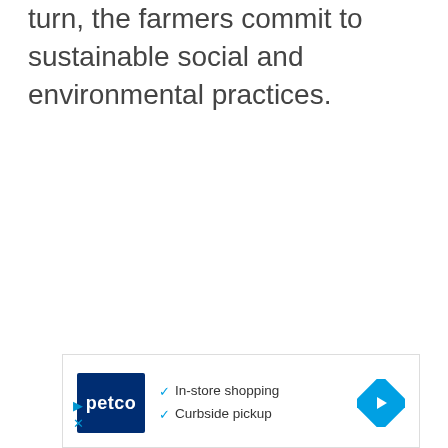turn, the farmers commit to sustainable social and environmental practices.
[Figure (other): Petco advertisement banner showing Petco logo, checkmarks for 'In-store shopping' and 'Curbside pickup', a navigation/directions diamond icon, and ad control icons (play and close).]